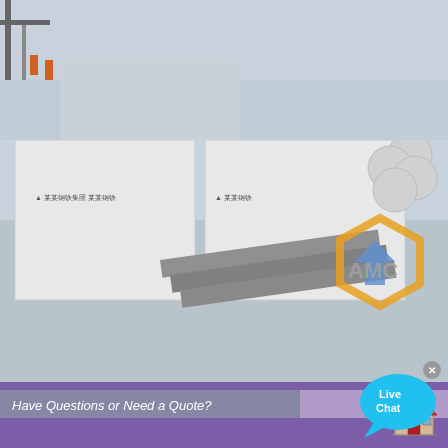[Figure (photo): Industrial yard with large white metal structures/containers, steel pipes, and crane equipment. AMC logo watermark visible in lower right of photo.]
Have Questions or Need a Quote?
[Figure (infographic): Live Chat speech bubble in cyan with 'Live Chat' text and a close X button]
SAND WASHING MACHINE FOR SALES
[Figure (photo): Customer service representative smiling, overlaid with Chat Now button]
2021-5-22    Washing: Aggregates flow into washing tank from feeding launder grinds with each other and rolls with the impellor slowly. the impurities covered in sand is washing out by water. Recycling: sand
[Figure (photo): Construction crane with worker suspended on ropes against a cloudy sky, orange crane machinery visible]
[Figure (illustration): House/home icon in red and beige colors]